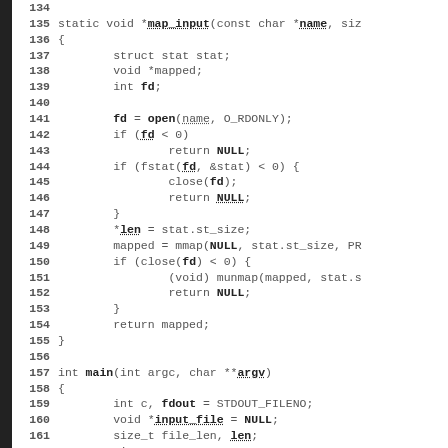Code listing lines 134–163: C source code for map_input and main functions